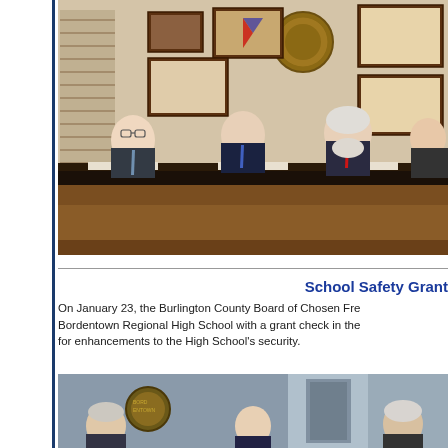[Figure (photo): Burlington County Board of Chosen Freeholders seated at a dais/table in a formal meeting room, with framed certificates, a bronze seal, and blinds visible on the wall behind them. Four men in suits are visible.]
School Safety Grant
On January 23, the Burlington County Board of Chosen Freeholders presented Bordentown Regional High School with a grant check in the amount of [amount] for enhancements to the High School's security.
[Figure (photo): Three individuals posing near a security door/metal detector at Bordentown Regional High School, with a school seal/emblem visible on the wall.]